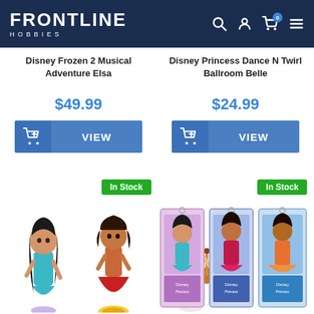Frontline Hobbies
Disney Frozen 2 Musical Adventure Elsa
Disney Princess Dance N Twirl Ballroom Belle
$49.99
$24.99
In Stock
In Stock
[Figure (photo): Three Disney princess dolls (Jasmine, Moana/Elena, Rapunzel) displayed standing]
[Figure (photo): Three Disney princess dolls in packaging boxes (Jasmine, Mulan, Moana)]